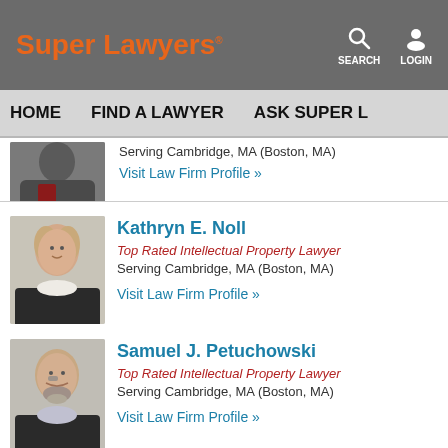Super Lawyers
HOME   FIND A LAWYER   ASK SUPER L
Serving Cambridge, MA (Boston, MA)
Visit Law Firm Profile »
Kathryn E. Noll
Top Rated Intellectual Property Lawyer
Serving Cambridge, MA (Boston, MA)
Visit Law Firm Profile »
Samuel J. Petuchowski
Top Rated Intellectual Property Lawyer
Serving Cambridge, MA (Boston, MA)
Visit Law Firm Profile »